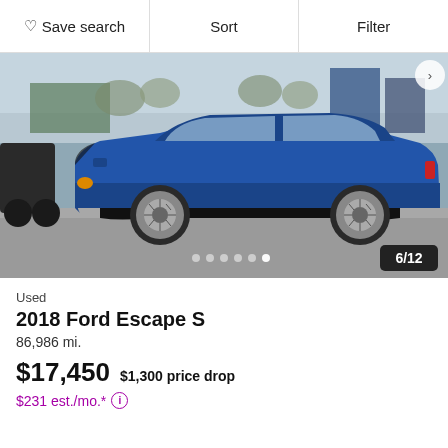Save search  Sort  Filter
[Figure (photo): Blue 2018 Ford Escape S SUV photographed from the side in a parking lot, with buildings and bare trees in the background. Photo indicator shows 6/12.]
Used
2018 Ford Escape S
86,986 mi.
$17,450  $1,300 price drop
$231 est./mo.*